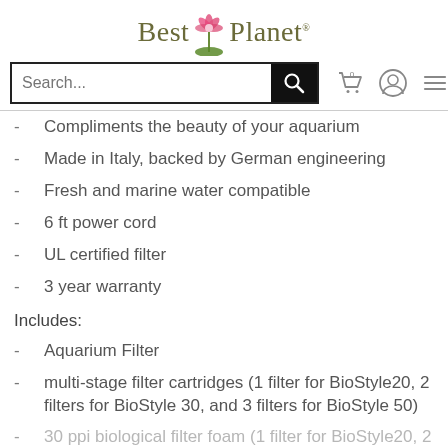[Figure (logo): Best Planet logo with pink lotus flower and green lily pad]
[Figure (screenshot): Website search bar with cart, user, and menu icons]
Compliments the beauty of your aquarium
Made in Italy, backed by German engineering
Fresh and marine water compatible
6 ft power cord
UL certified filter
3 year warranty
Includes:
Aquarium Filter
multi-stage filter cartridges (1 filter for BioStyle20, 2 filters for BioStyle 30, and 3 filters for BioStyle 50)
30 ppi biological filter foam (1 filter for BioStyle20, 2...